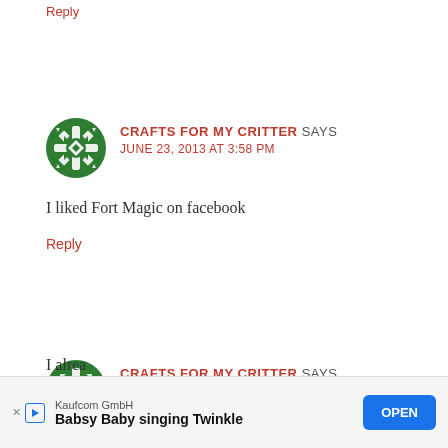Reply
CRAFTS FOR MY CRITTER SAYS
JUNE 23, 2013 AT 3:58 PM
I liked Fort Magic on facebook
Reply
CRAFTS FOR MY CRITTER SAYS
JUNE 23, 2013 AT 3:59 PM
I alrea...